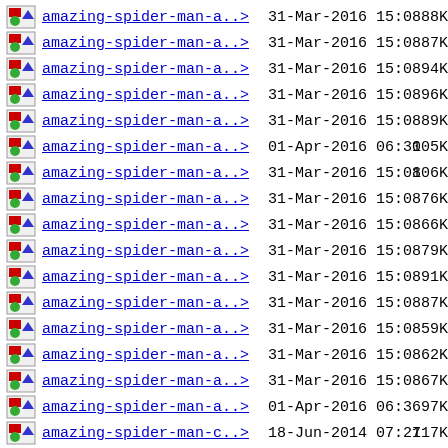amazing-spider-man-a..>  31-Mar-2016 15:08   88K
amazing-spider-man-a..>  31-Mar-2016 15:08   87K
amazing-spider-man-a..>  31-Mar-2016 15:08   94K
amazing-spider-man-a..>  31-Mar-2016 15:08   96K
amazing-spider-man-a..>  31-Mar-2016 15:08   89K
amazing-spider-man-a..>  01-Apr-2016 06:30  105K
amazing-spider-man-a..>  31-Mar-2016 15:08  106K
amazing-spider-man-a..>  31-Mar-2016 15:08   76K
amazing-spider-man-a..>  31-Mar-2016 15:08   66K
amazing-spider-man-a..>  31-Mar-2016 15:08   79K
amazing-spider-man-a..>  31-Mar-2016 15:08   91K
amazing-spider-man-a..>  31-Mar-2016 15:08   87K
amazing-spider-man-a..>  31-Mar-2016 15:08   59K
amazing-spider-man-a..>  31-Mar-2016 15:08   62K
amazing-spider-man-a..>  31-Mar-2016 15:08   67K
amazing-spider-man-a..>  01-Apr-2016 06:36   97K
amazing-spider-man-c..>  18-Jun-2014 07:27  117K